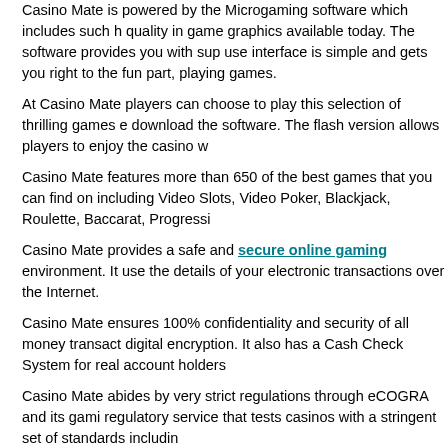Casino Mate is powered by the Microgaming software which includes such highest quality in game graphics available today. The software provides you with sup... use interface is simple and gets you right to the fun part, playing games.
At Casino Mate players can choose to play this selection of thrilling games e... download the software. The flash version allows players to enjoy the casino w...
Casino Mate features more than 650 of the best games that you can find on... including Video Slots, Video Poker, Blackjack, Roulette, Baccarat, Progressi...
Casino Mate provides a safe and secure online gaming environment. It use... the details of your electronic transactions over the Internet.
Casino Mate ensures 100% confidentiality and security of all money transact... digital encryption. It also has a Cash Check System for real account holders...
Casino Mate abides by very strict regulations through eCOGRA and its gami... regulatory service that tests casinos with a stringent set of standards includi...
Casino Mate allows players to fund their accounts using a variety of different... to them to choose from including Click2Pay, ClickandBuy, ECOCard, EntroP... Moneta, MoneyBookers, Neteller, PaysafeCard, Poli, Przelewy24, Sofort, So... Transfer.
Players are guaranteed excellent customer support at Casino Mate. The sup... email, phone or live chat. The staff are friendly and informative and help to re...
Claim Bonus and Play
Casino Mate | Cabaret Club Casino | Spin Palace Casino | S...
Copyright © 2022 Sun Casino...